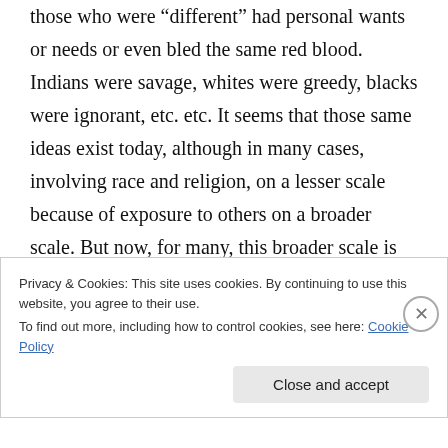those who were “different” had personal wants or needs or even bled the same red blood. Indians were savage, whites were greedy, blacks were ignorant, etc. etc. It seems that those same ideas exist today, although in many cases, involving race and religion, on a lesser scale because of exposure to others on a broader scale. But now, for many, this broader scale is telling many that all Muslims are terrorists, and all gay people are immoral, and so on.
So back to the question. Does the Frontier
Privacy & Cookies: This site uses cookies. By continuing to use this website, you agree to their use.
To find out more, including how to control cookies, see here: Cookie Policy